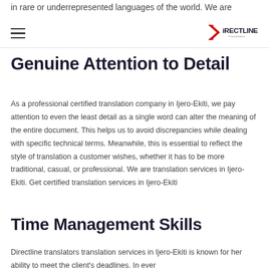in rare or underrepresented languages of the world. We are
[Figure (logo): DirectLine Translators logo with red arrow/D shape and black text]
Genuine Attention to Detail
As a professional certified translation company in Ijero-Ekiti, we pay attention to even the least detail as a single word can alter the meaning of the entire document. This helps us to avoid discrepancies while dealing with specific technical terms. Meanwhile, this is essential to reflect the style of translation a customer wishes, whether it has to be more traditional, casual, or professional. We are translation services in Ijero-Ekiti. Get certified translation services in Ijero-Ekiti
Time Management Skills
Directline translators translation services in Ijero-Ekiti is known for her ability to meet the client's deadlines. In ever